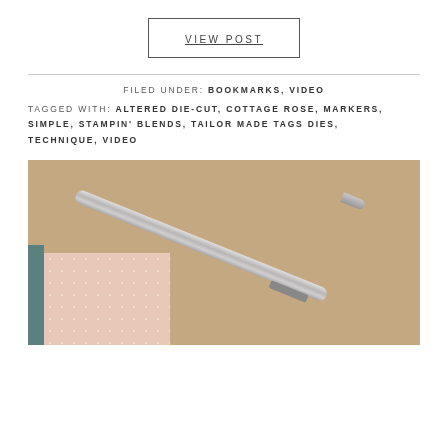VIEW POST
FILED UNDER: BOOKMARKS, VIDEO
TAGGED WITH: ALTERED DIE-CUT, COTTAGE ROSE, MARKERS, SIMPLE, STAMPIN' BLENDS, TAILOR MADE TAGS DIES, TECHNIQUE, VIDEO
[Figure (photo): Photo of a silver pen/marker lying diagonally on a wooden surface, with a small booklet or notepad with polka dot pattern partially visible in the lower left corner.]